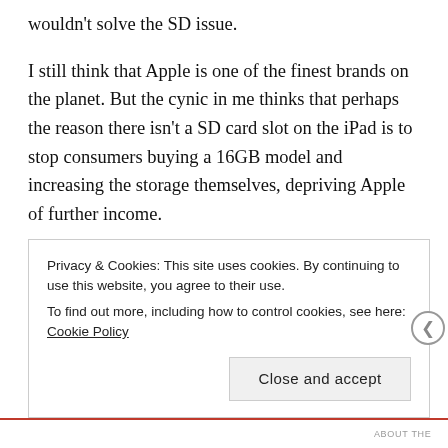wouldn't solve the SD issue.
I still think that Apple is one of the finest brands on the planet. But the cynic in me thinks that perhaps the reason there isn't a SD card slot on the iPad is to stop consumers buying a 16GB model and increasing the storage themselves, depriving Apple of further income.
Although I've been aware of Apple's strategy of only letting proprietary products complement its devices, it hasn't really bothered me. However, I do think that if a brand pushes consumers too far or constantly adds new products that
Privacy & Cookies: This site uses cookies. By continuing to use this website, you agree to their use.
To find out more, including how to control cookies, see here: Cookie Policy
Close and accept